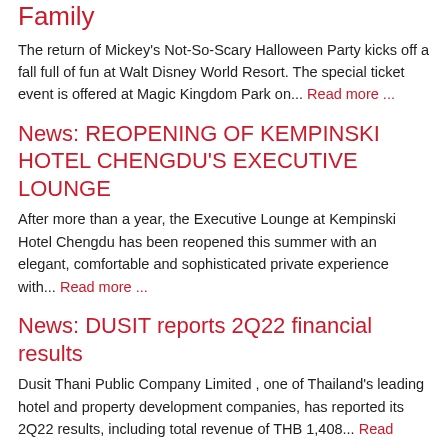Family
The return of Mickey's Not-So-Scary Halloween Party kicks off a fall full of fun at Walt Disney World Resort. The special ticket event is offered at Magic Kingdom Park on... Read more ...
News: REOPENING OF KEMPINSKI HOTEL CHENGDU'S EXECUTIVE LOUNGE
After more than a year, the Executive Lounge at Kempinski Hotel Chengdu has been reopened this summer with an elegant, comfortable and sophisticated private experience with... Read more ...
News: DUSIT reports 2Q22 financial results
Dusit Thani Public Company Limited , one of Thailand's leading hotel and property development companies, has reported its 2Q22 results, including total revenue of THB 1,408... Read more ...
News: For 4th year, Delta named top...